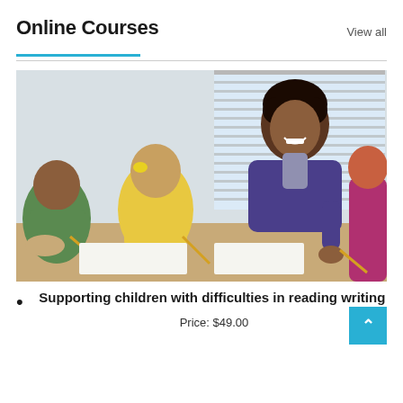Online Courses
View all
[Figure (photo): A smiling female teacher leaning over a table helping young children with writing exercises in a classroom setting.]
Supporting children with difficulties in reading writing
Price: $49.00